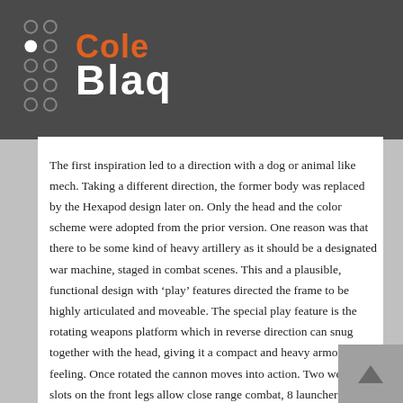[Figure (logo): ColeBlaq logo with dot grid pattern on left and two-tone text 'Cole' in orange and 'Blaq' in white on dark gray background]
The first inspiration led to a direction with a dog or animal like mech. Taking a different direction, the former body was replaced by the Hexapod design later on. Only the head and the color scheme were adopted from the prior version. One reason was that there to be some kind of heavy artillery as it should be a designated war machine, staged in combat scenes. This and a plausible, functional design with ‘play’ features directed the frame to be highly articulated and moveable. The special play feature is the rotating weapons platform which in reverse direction can snug together with the head, giving it a compact and heavy armored feeling. Once rotated the cannon moves into action. Two weapon slots on the front legs allow close range combat, 8 launchers attached to the sides of the platform allow additional performance.